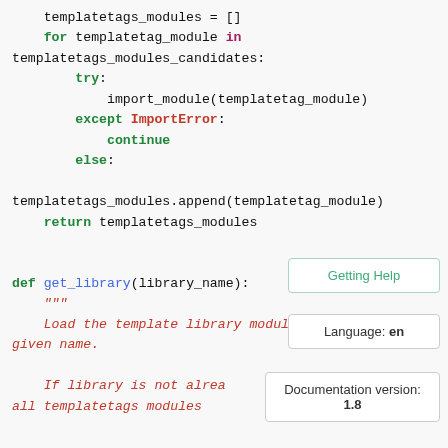Code block showing Python code for template tag loading logic including for loop, try/except/else, and get_library function definition with docstring
Getting Help
Language: en
Documentation version: 1.8